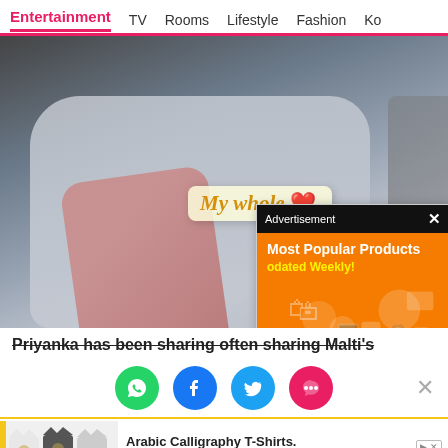Entertainment  TV  Rooms  Lifestyle  Fashion  Ko
[Figure (photo): Person on a couch holding a pink pillow, wearing a grey sweatshirt, with a 'My whole ❤️' sticker overlay and an orange advertisement popup for 'Most Popular Products Updated Weekly!']
Priyanka has been sharing often sharing Malti's
[Figure (infographic): Social sharing bar with WhatsApp, Facebook, Twitter, and chat bubble icons, plus a close X button]
[Figure (infographic): Bottom advertisement banner for Arabic Calligraphy T-Shirts with text 'Perfect Gift for Your Friends and Family']